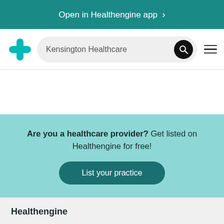Open in Healthengine app >
[Figure (logo): Healthengine cross/plus logo in teal, search bar with text 'Kensington Healthcare', search button, hamburger menu icon]
Are you a healthcare provider? Get listed on Healthengine for free!
List your practice
Healthengine
About us
C